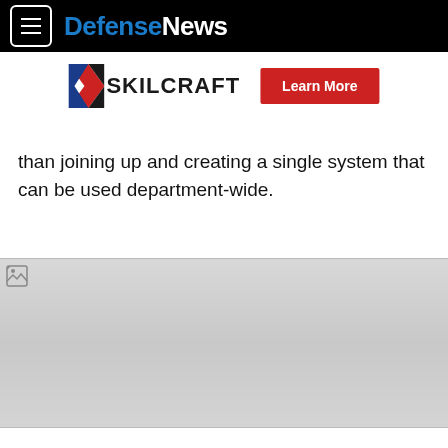DefenseNews
[Figure (logo): SKILCRAFT logo with red/blue chevron and 'Learn More' red button advertisement banner]
than joining up and creating a single system that can be used department-wide.
[Figure (photo): Broken/loading image placeholder with gray gradient background]